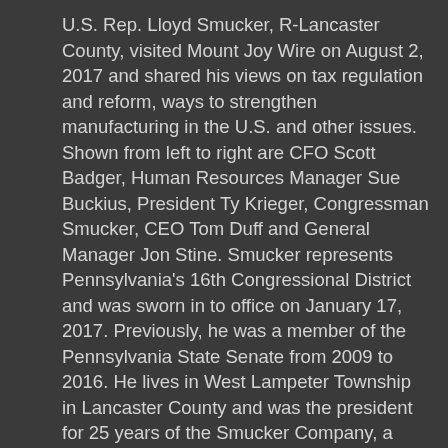U.S. Rep. Lloyd Smucker, R-Lancaster County, visited Mount Joy Wire on August 2, 2017 and shared his views on tax regulation and reform, ways to strengthen manufacturing in the U.S. and other issues. Shown from left to right are CFO Scott Badger, Human Resources Manager Sue Buckius, President Ty Krieger, Congressman Smucker, CEO Tom Duff and General Manager Jon Stine. Smucker represents Pennsylvania's 16th Congressional District and was sworn in to office on January 17, 2017. Previously, he was a member of the Pennsylvania State Senate from 2009 to 2016. He lives in West Lampeter Township in Lancaster County and was the president for 25 years of the Smucker Company, a family-owned commercial construction firm.
You have been named as one of the Top 100 privately held companies in the midstate for 2016! The staff at the Central Penn Business Journal is proud to have been able to share your story with the regional business